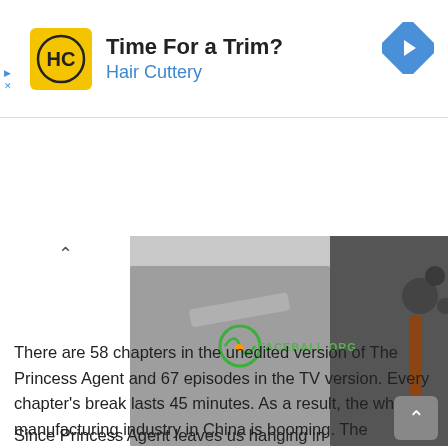[Figure (infographic): Advertisement banner for Hair Cuttery with yellow logo featuring HC initials, title 'Time For a Trim?', subtitle 'Hair Cuttery' in blue, and a blue diamond navigation arrow icon on the right. Play and close icons on the far left.]
[Figure (photo): Hero photo of two people in traditional Chinese costume holding weapons, with a faceball.org watermark overlaid. A scroll-up chevron (^) is visible in the top-left corner of the image area.]
There are 58 chapters in the unedited version of The Princess Agent and 67 episodes in the TV version. Every chapter's break lasts 45 minutes. As a result, the whole manufacturing industry in China is booming. The Mandarian term is used in every conversation. Hunan TV is a network that's all its own.
Since Princess Agent leaves us hanging in anticipation at the